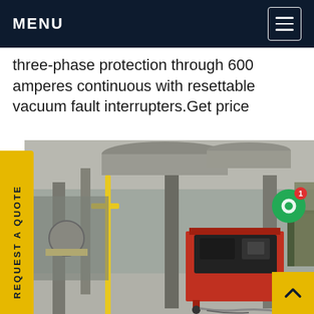MENU
three-phase protection through 600 amperes continuous with resettable vacuum fault interrupters.Get price
[Figure (photo): Industrial facility interior showing pipes, columns, and a red metal equipment cart/rack holding black electronic equipment with cables on the floor. Yellow gas pipes visible on the left, industrial ceiling with large ducts above.]
REQUEST A QUOTE